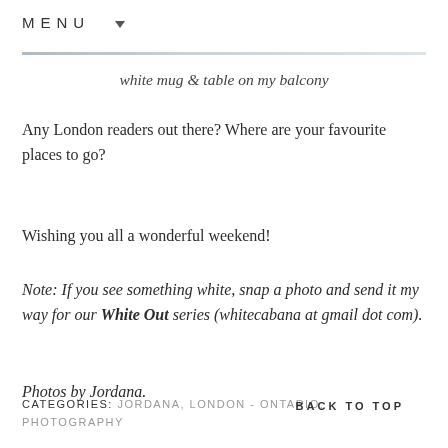MENU ▾
white mug & table on my balcony
Any London readers out there? Where are your favourite places to go?
Wishing you all a wonderful weekend!
Note: If you see something white, snap a photo and send it my way for our White Out series (whitecabana at gmail dot com).
Photos by Jordana.
CATEGORIES: JORDANA, LONDON - ONTARIO, PHOTOGRAPHY   BACK TO TOP